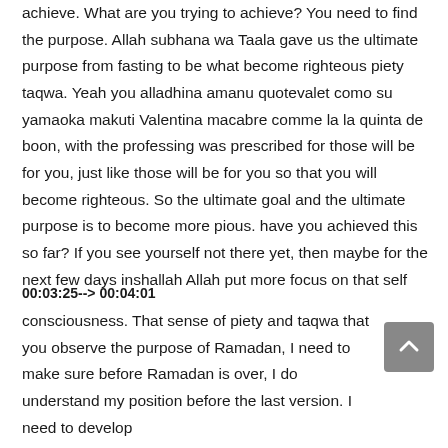achieve. What are you trying to achieve? You need to find the purpose. Allah subhana wa Taala gave us the ultimate purpose from fasting to be what become righteous piety taqwa. Yeah you alladhina amanu quotevalet como su yamaoka makuti Valentina macabre comme la la quinta de boon, with the professing was prescribed for those will be for you, just like those will be for you so that you will become righteous. So the ultimate goal and the ultimate purpose is to become more pious. have you achieved this so far? If you see yourself not there yet, then maybe for the next few days inshallah Allah put more focus on that self
00:03:25--> 00:04:01
consciousness. That sense of piety and taqwa that you observe the purpose of Ramadan, I need to make sure before Ramadan is over, I do understand my position before the last version. I need to develop